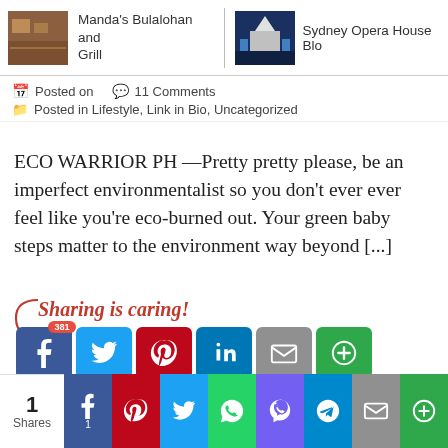[Figure (screenshot): Navigation thumbnails: Manda's Bulalohan and Grill (left) and Sydney Opera House Blog (right)]
Posted on   11 Comments
Posted in Lifestyle, Link in Bio, Uncategorized
ECO WARRIOR PH —Pretty pretty please, be an imperfect environmentalist so you don't ever ever feel like you're eco-burned out. Your green baby steps matter to the environment way beyond [...]
[Figure (screenshot): Sharing is caring! section with social share buttons: Facebook (381), Twitter, Pinterest, LinkedIn, Email, More]
[Figure (screenshot): Bottom share bar with 1 Share count and buttons: Facebook (1), Pinterest, Twitter, WhatsApp, Viber, Telegram, Email, More]